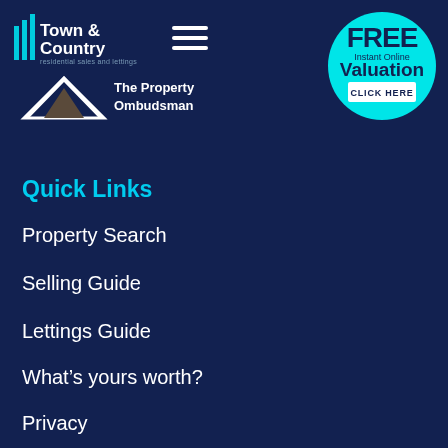[Figure (logo): Town & Country residential sales and lettings logo with cyan vertical bars and white text]
[Figure (logo): The Property Ombudsman logo with mountain/triangle graphic and white text]
[Figure (infographic): Cyan circle badge reading FREE Instant Online Valuation with CLICK HERE button]
Quick Links
Property Search
Selling Guide
Lettings Guide
What’s yours worth?
Privacy
Contact Us